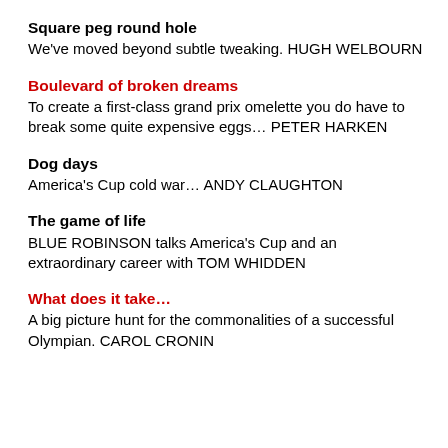Square peg round hole
We've moved beyond subtle tweaking. HUGH WELBOURN
Boulevard of broken dreams
To create a first-class grand prix omelette you do have to break some quite expensive eggs… PETER HARKEN
Dog days
America's Cup cold war… ANDY CLAUGHTON
The game of life
BLUE ROBINSON talks America's Cup and an extraordinary career with TOM WHIDDEN
What does it take…
A big picture hunt for the commonalities of a successful Olympian. CAROL CRONIN